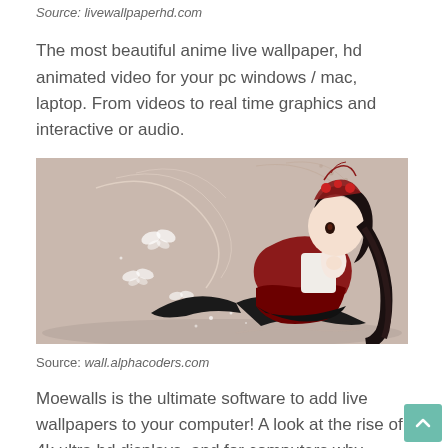Source: livewallpaperhd.com
The most beautiful anime live wallpaper, hd animated video for your pc windows / mac, laptop. From videos to real time graphics and interactive or audio.
[Figure (illustration): Anime girl in a red and black gothic lolita dress with long black hair and a decorative headpiece, sitting on a reflective surface with glowing butterflies and floral swirls on a beige/taupe background.]
Source: wall.alphacoders.com
Moewalls is the ultimate software to add live wallpapers to your computer! A look at the rise of 4k ultra hd displays, and for computers why upgrading to